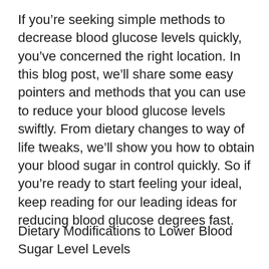If you're seeking simple methods to decrease blood glucose levels quickly, you've concerned the right location. In this blog post, we'll share some easy pointers and methods that you can use to reduce your blood glucose levels swiftly. From dietary changes to way of life tweaks, we'll show you how to obtain your blood sugar in control quickly. So if you're ready to start feeling your ideal, keep reading for our leading ideas for reducing blood glucose degrees fast.
Dietary Modifications to Lower Blood Sugar Level Levels